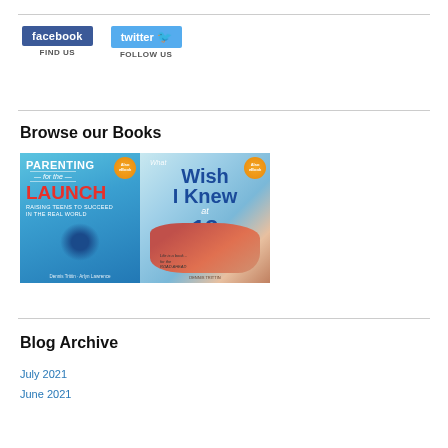[Figure (logo): Facebook Find Us button with dark blue background and white text]
[Figure (logo): Twitter Follow Us button with light blue background, white text and bird icon]
Browse our Books
[Figure (photo): Two book covers side by side: 'Parenting for the Launch - Raising Teens to Succeed in the Real World' and 'What I Wish I Knew at 18' with eBook badges on each]
Blog Archive
July 2021
June 2021